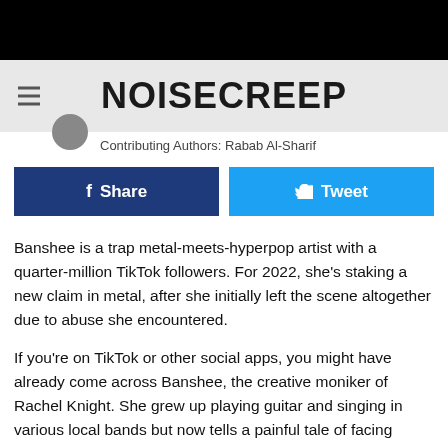[Figure (logo): Noisecreep website logo — black text on light gray background with hamburger menu icon on left]
Contributing Authors: Rabab Al-Sharif
[Figure (infographic): Social share buttons: Facebook Share (dark blue) and Tweet (light blue)]
Banshee is a trap metal-meets-hyperpop artist with a quarter-million TikTok followers. For 2022, she's staking a new claim in metal, after she initially left the scene altogether due to abuse she encountered.
If you're on TikTok or other social apps, you might have already come across Banshee, the creative moniker of Rachel Knight. She grew up playing guitar and singing in various local bands but now tells a painful tale of facing cruelty and exclusion. She says the mistreatment escalated